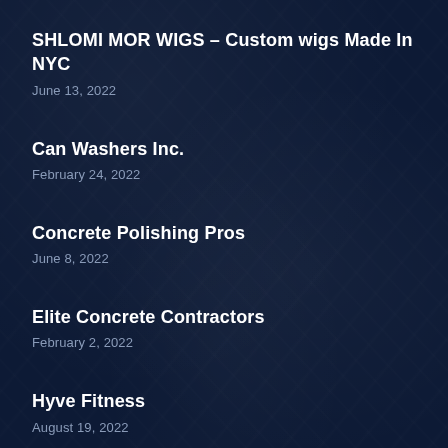SHLOMI MOR WIGS – Custom wigs Made In NYC
June 13, 2022
Can Washers Inc.
February 24, 2022
Concrete Polishing Pros
June 8, 2022
Elite Concrete Contractors
February 2, 2022
Hyve Fitness
August 19, 2022